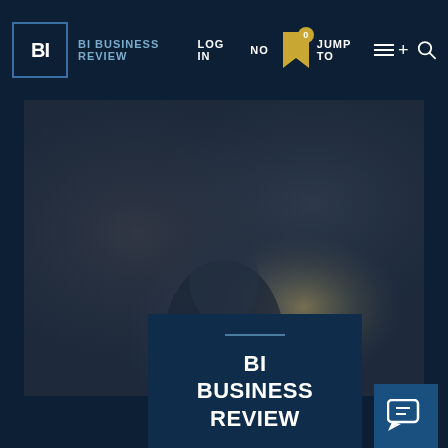BI BUSINESS REVIEW — LOG IN  NO  JUMP TO
[Figure (photo): Blurred background photo of people in a meeting or conference setting, with muted colors — warm tones on the left, cool grey-blue tones on the right, and a dark silhouette figure in the lower center.]
BI BUSINESS REVIEW